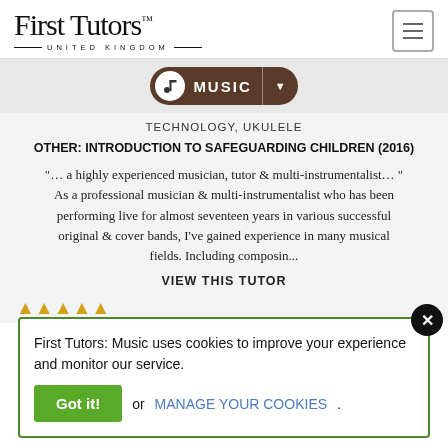First Tutors UNITED KINGDOM
[Figure (logo): First Tutors United Kingdom logo with hamburger menu icon]
[Figure (infographic): Music navigation pill with music note icon, MUSIC label, and dropdown arrow]
TECHNOLOGY, UKULELE
OTHER: INTRODUCTION TO SAFEGUARDING CHILDREN (2016)
"… a highly experienced musician, tutor & multi-instrumentalist… " As a professional musician & multi-instrumentalist who has been performing live for almost seventeen years in various successful original & cover bands, I've gained experience in many musical fields. Including composin...
VIEW THIS TUTOR
First Tutors: Music uses cookies to improve your experience and monitor our service.
Got it! or MANAGE YOUR COOKIES.